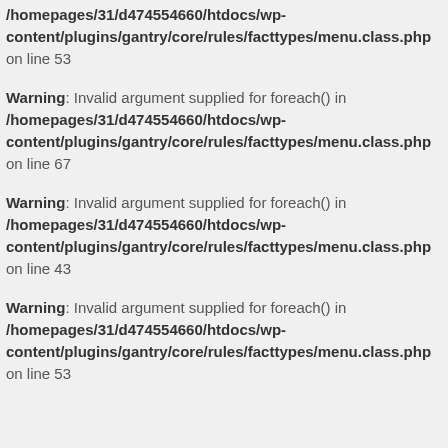/homepages/31/d474554660/htdocs/wp-content/plugins/gantry/core/rules/facttypes/menu.class.php on line 53
Warning: Invalid argument supplied for foreach() in /homepages/31/d474554660/htdocs/wp-content/plugins/gantry/core/rules/facttypes/menu.class.php on line 67
Warning: Invalid argument supplied for foreach() in /homepages/31/d474554660/htdocs/wp-content/plugins/gantry/core/rules/facttypes/menu.class.php on line 43
Warning: Invalid argument supplied for foreach() in /homepages/31/d474554660/htdocs/wp-content/plugins/gantry/core/rules/facttypes/menu.class.php on line 53